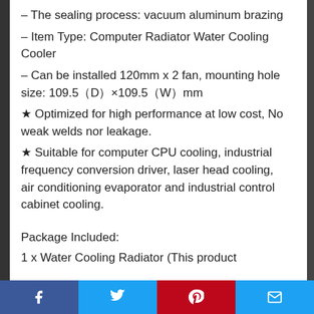– The sealing process: vacuum aluminum brazing
– Item Type: Computer Radiator Water Cooling Cooler
– Can be installed 120mm x 2 fan, mounting hole size: 109.5（D）×109.5（W）mm
★ Optimized for high performance at low cost, No weak welds nor leakage.
★ Suitable for computer CPU cooling, industrial frequency conversion driver, laser head cooling, air conditioning evaporator and industrial control cabinet cooling.
Package Included:
1 x Water Cooling Radiator (This product
Facebook | Twitter | Pinterest | Email